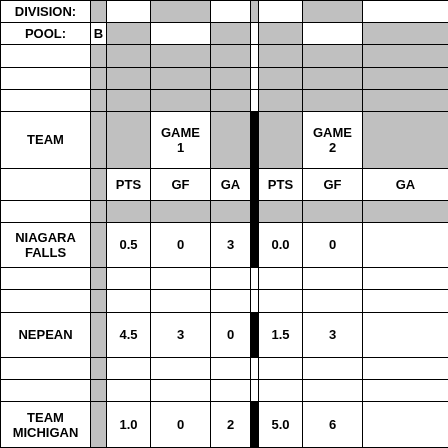| TEAM |  | PTS | GF | GA | | | PTS | GF | GA |
| --- | --- | --- | --- | --- | --- | --- | --- | --- |
| DIVISION: |  |  |  |  |  |  |  |  |
| POOL: | B |  |  |  |  |  |  |  |
|  |  |  |  |  |  |  |  |  |
|  |  |  |  |  |  |  |  |  |
|  |  |  |  |  |  |  |  |  |
| TEAM |  |  | GAME 1 |  |  |  | GAME 2 |  |
|  |  | PTS | GF | GA |  | PTS | GF | GA |
|  |  |  |  |  |  |  |  |  |
| NIAGARA FALLS |  | 0.5 | 0 | 3 |  | 0.0 | 0 |  |
|  |  |  |  |  |  |  |  |  |
|  |  |  |  |  |  |  |  |  |
| NEPEAN |  | 4.5 | 3 | 0 |  | 1.5 | 3 |  |
|  |  |  |  |  |  |  |  |  |
|  |  |  |  |  |  |  |  |  |
| TEAM MICHIGAN |  | 1.0 | 0 | 2 |  | 5.0 | 6 |  |